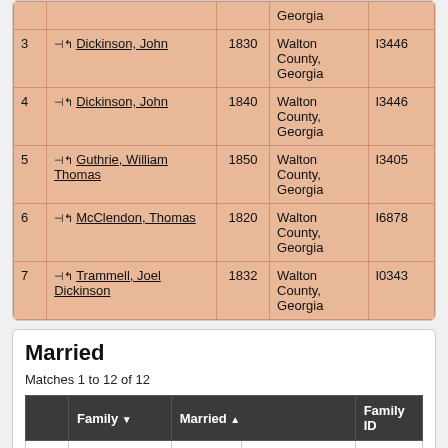|  | Name | Year | Place | ID |
| --- | --- | --- | --- | --- |
|  |  |  | Georgia |  |
| 3 | ⊣↰ Dickinson, John | 1830 | Walton County, Georgia | I3446 |
| 4 | ⊣↰ Dickinson, John | 1840 | Walton County, Georgia | I3446 |
| 5 | ⊣↰ Guthrie, William Thomas | 1850 | Walton County, Georgia | I3405 |
| 6 | ⊣↰ McClendon, Thomas | 1820 | Walton County, Georgia | I6878 |
| 7 | ⊣↰ Trammell, Joel Dickinson | 1832 | Walton County, Georgia | I0343 |
Married
Matches 1 to 12 of 12
|  | Family | Married | Family ID |
| --- | --- | --- | --- |
| 1 | Dickinson / Cook | 14 Mar 1896 | Walton County, Georgia | F0969 |
| 2 | Dickinson / Cooper | 25 Sep 1994 | Georgia | F0961 |